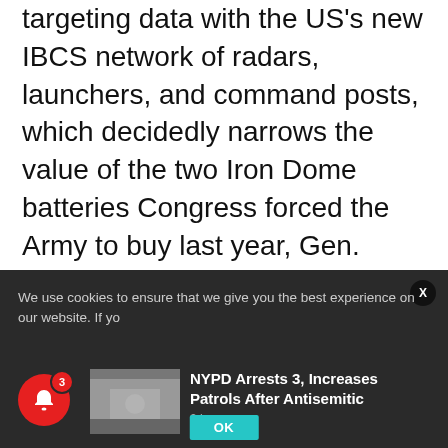targeting data with the US's new IBCS network of radars, launchers, and command posts, which decidedly narrows the value of the two Iron Dome batteries Congress forced the Army to buy last year, Gen. John Murray, chief of Army Futures Command, told the Tactical Air & Land Forces subcommittee of the House Armed Services committee last Thursday, Breaking Defense reported.
“It took us longer to acquire those two batteries
We use cookies to ensure that we give you the best experience on our website. If yo
[Figure (photo): Thumbnail image of a news story showing a scene outdoors]
NYPD Arrests 3, Increases Patrols After Antisemitic
2 hours ago